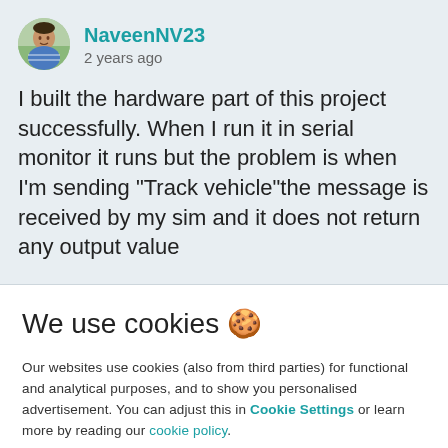[Figure (photo): Avatar photo of user NaveenNV23, a person outdoors in a blue striped shirt]
NaveenNV23
2 years ago
I built the hardware part of this project successfully. When I run it in serial monitor it runs but the problem is when I'm sending "Track vehicle"the message is received by my sim and it does not return any output value
We use cookies 🍪
Our websites use cookies (also from third parties) for functional and analytical purposes, and to show you personalised advertisement. You can adjust this in Cookie Settings or learn more by reading our cookie policy.
ONLY REQUIRED
ACCEPT ALL